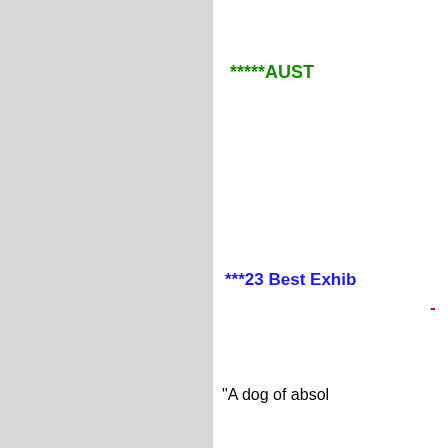[Figure (other): Gray panel occupying the left half of the page]
*****AUST
***23 Best Exhib
-
"A dog of absol